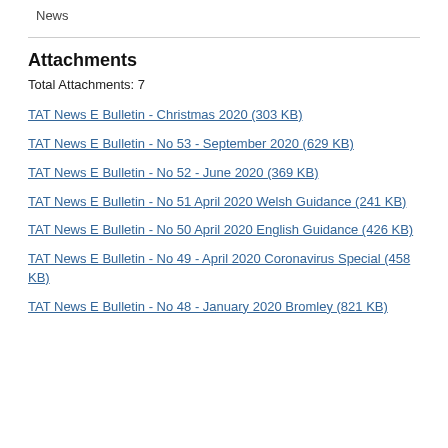News
Attachments
Total Attachments: 7
TAT News E Bulletin - Christmas 2020 (303 KB)
TAT News E Bulletin - No 53 - September 2020 (629 KB)
TAT News E Bulletin - No 52 - June 2020 (369 KB)
TAT News E Bulletin - No 51 April 2020 Welsh Guidance (241 KB)
TAT News E Bulletin - No 50 April 2020 English Guidance (426 KB)
TAT News E Bulletin - No 49 - April 2020 Coronavirus Special (458 KB)
TAT News E Bulletin - No 48 - January 2020 Bromley (821 KB)